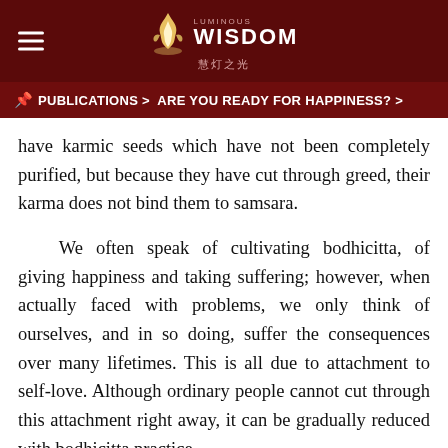LUMINOUS WISDOM 慧灯之光
PUBLICATIONS > ARE YOU READY FOR HAPPINESS? >
have karmic seeds which have not been completely purified, but because they have cut through greed, their karma does not bind them to samsara.
We often speak of cultivating bodhicitta, of giving happiness and taking suffering; however, when actually faced with problems, we only think of ourselves, and in so doing, suffer the consequences over many lifetimes. This is all due to attachment to self-love. Although ordinary people cannot cut through this attachment right away, it can be gradually reduced with bodhicitta practice.
Whatever suffering we come upon in the future, we